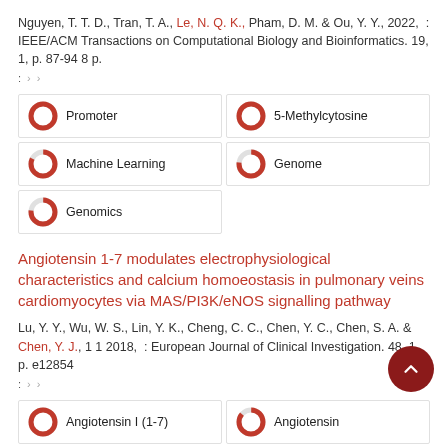Nguyen, T. T. D., Tran, T. A., Le, N. Q. K., Pham, D. M. & Ou, Y. Y., 2022, : IEEE/ACM Transactions on Computational Biology and Bioinformatics. 19, 1, p. 87-94 8 p.
: › ›
Promoter
5-Methylcytosine
Machine Learning
Genome
Genomics
Angiotensin 1-7 modulates electrophysiological characteristics and calcium homoeostasis in pulmonary veins cardiomyocytes via MAS/PI3K/eNOS signalling pathway
Lu, Y. Y., Wu, W. S., Lin, Y. K., Cheng, C. C., Chen, Y. C., Chen, S. A. & Chen, Y. J., 1 1 2018, : European Journal of Clinical Investigation. 48, 1, p. e12854
: › ›
Angiotensin I (1-7)
Angiotensin